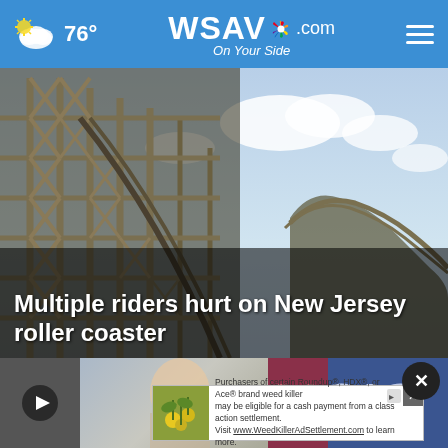WSAV.com On Your Side — 76°
[Figure (photo): Wooden roller coaster structure with crisscross timber framing rising against a partly cloudy sky. Large headline overlay reading 'Multiple riders hurt on New Jersey roller coaster' in bold white text.]
Multiple riders hurt on New Jersey roller coaster
[Figure (screenshot): Bottom thumbnail strip showing a video play button on the left, a blurred face/person thumbnail in the center-left, and partial 'NEWS' text in blue/red on the right. An X close button and advertisement banner overlay.]
Purchasers of certain Roundup®, HDX®, or Ace® brand weed killer may be eligible for a cash payment from a class action settlement. Visit www.WeedKillerAdSettlement.com to learn more.